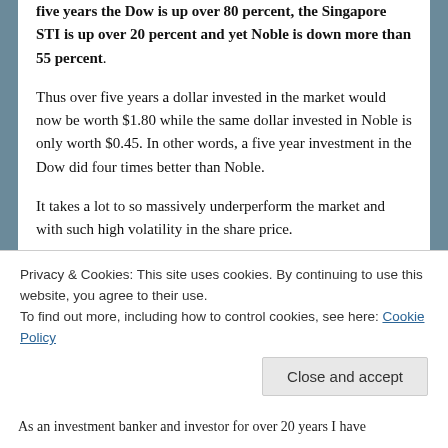five years the Dow is up over 80 percent, the Singapore STI is up over 20 percent and yet Noble is down more than 55 percent.
Thus over five years a dollar invested in the market would now be worth $1.80 while the same dollar invested in Noble is only worth $0.45. In other words, a five year investment in the Dow did four times better than Noble.
It takes a lot to so massively underperform the market and with such high volatility in the share price.
Even over 10 years the share price is down over 17 percent while the Dow is up almost 75 percent.
The inescapable conclusion is that the stewardship of Noble
Privacy & Cookies: This site uses cookies. By continuing to use this website, you agree to their use. To find out more, including how to control cookies, see here: Cookie Policy
As an investment banker and investor for over 20 years I have